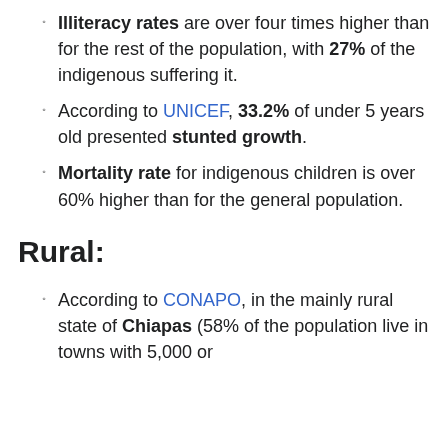Illiteracy rates are over four times higher than for the rest of the population, with 27% of the indigenous suffering it.
According to UNICEF, 33.2% of under 5 years old presented stunted growth.
Mortality rate for indigenous children is over 60% higher than for the general population.
Rural:
According to CONAPO, in the mainly rural state of Chiapas (58% of the population live in towns with 5,000 or